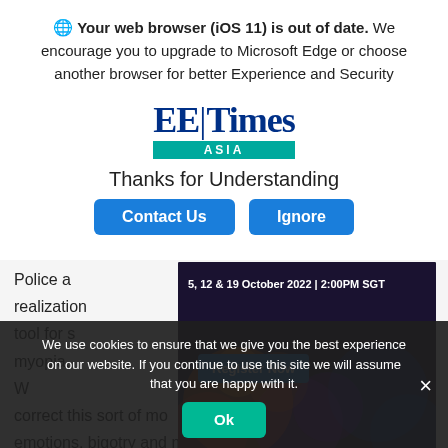Your web browser (iOS 11) is out of date. We encourage you to upgrade to Microsoft Edge or choose another browser for better Experience and Security
[Figure (logo): EE Times Asia logo — bold serif EE|Times with teal ASIA bar underneath]
Thanks for Understanding
Contact Us  Ignore (buttons)
Police a... realization... iable tool for s... aste, myopia... flaws.
[Figure (screenshot): Webinar popup overlay: 5, 12 & 19 October 2022 | 2:00PM SGT with Register Now button, dark background with colorful bokeh lights, Rohde & Schwarz branding]
We use cookies to ensure that we give you the best experience on our website. If you continue to use this site we will assume that you are happy with it.
Ok (button) × (close)